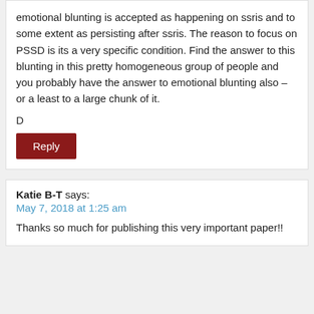emotional blunting is accepted as happening on ssris and to some extent as persisting after ssris. The reason to focus on PSSD is its a very specific condition. Find the answer to this blunting in this pretty homogeneous group of people and you probably have the answer to emotional blunting also – or a least to a large chunk of it.
D
Reply
Katie B-T says:
May 7, 2018 at 1:25 am
Thanks so much for publishing this very important paper!!